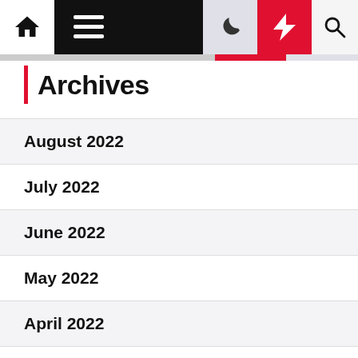Navigation bar with home, menu, moon, flash, and search icons
Archives
August 2022
July 2022
June 2022
May 2022
April 2022
March 2022
February 2022
January 2022